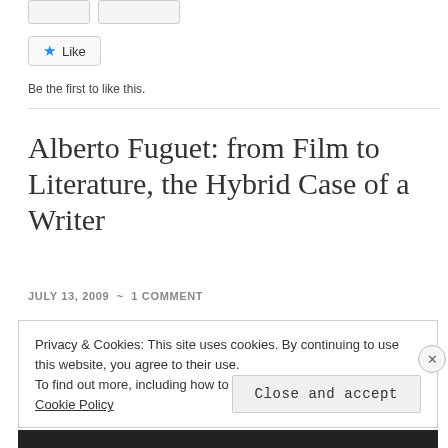[Figure (screenshot): Two small button placeholders at the top of the page]
[Figure (screenshot): Like button with blue star icon]
Be the first to like this.
Alberto Fuguet: from Film to Literature, the Hybrid Case of a Writer
JULY 13, 2009 ~ 1 COMMENT
Privacy & Cookies: This site uses cookies. By continuing to use this website, you agree to their use.
To find out more, including how to control cookies, see here: Cookie Policy
Close and accept